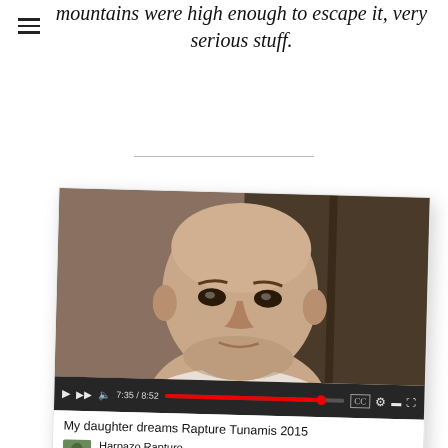mountains were high enough to escape it, very serious stuff.
[Figure (screenshot): Embedded YouTube video screenshot showing a bald man in a white shirt. Video title: 'My daughter dreams Rapture Tunamis 2015', channel: 'Harpazo Rapturo', with Subscribe button and 1,471 views. Video progress bar showing 7:35 / 8:52.]